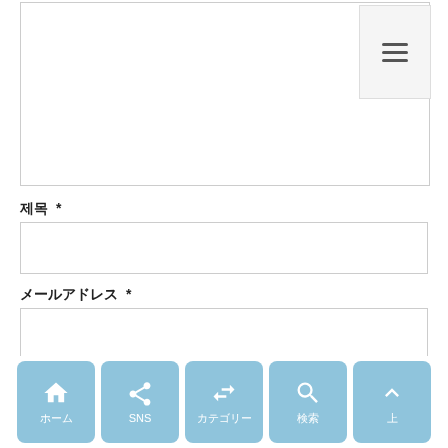[Figure (screenshot): Top content area with white background and border, containing a hamburger menu button in the top-right corner]
제목 *
[Figure (other): Empty text input box for 제목 (title)]
メールアドレス *
[Figure (other): Empty text input box for email address]
お問い合わせ
[Figure (other): Partially visible input box for inquiry content]
[Figure (infographic): Bottom navigation bar with 5 blue rounded buttons: ホーム (home), SNS (share), カテゴリー (categories), 検索 (search), 上 (up/top)]